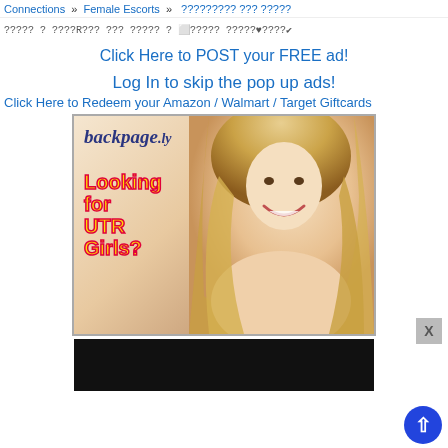Connections » Female Escorts » ????????? ??? ?????
????? ? ????R??? ??? ????? ? ??????? ?????♥????✔
Click Here to POST your FREE ad!
Log In to skip the pop up ads!
Click Here to Redeem your Amazon / Walmart / Target Giftcards
[Figure (advertisement): backpage.ly advertisement banner with text 'Looking for UTR Girls?' and image of a smiling blonde woman]
[Figure (other): Black banner/second advertisement at bottom]